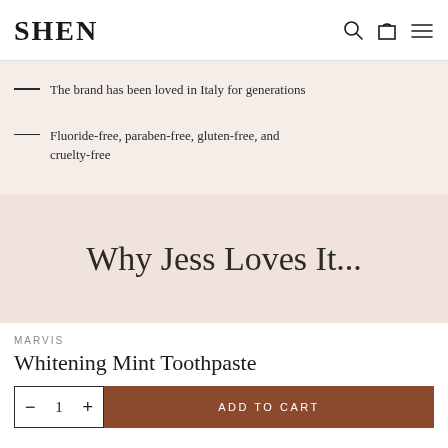SHEN
The brand has been loved in Italy for generations
Fluoride-free, paraben-free, gluten-free, and cruelty-free
Why Jess Loves It...
MARVIS
Whitening Mint Toothpaste
− 1 + ADD TO CART